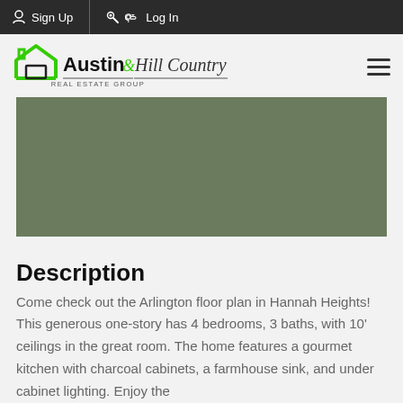Sign Up  Log In
[Figure (logo): Austin & Hill Country Real Estate Group logo with green house outline icon]
[Figure (photo): Exterior photo of a single-story home with white garage door, gray siding, brick accents, green lawn, and landscaping]
Description
Come check out the Arlington floor plan in Hannah Heights! This generous one-story has 4 bedrooms, 3 baths, with 10' ceilings in the great room. The home features a gourmet kitchen with charcoal cabinets, a farmhouse sink, and under cabinet lighting. Enjoy the